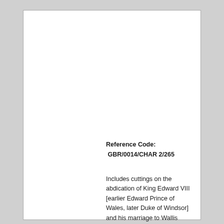Reference Code: GBR/0014/CHAR 2/265
Includes cuttings on the abdication of King Edward VIII [earlier Edward Prince of Wales, later Duke of Windsor] and his marriage to Wallis Simpson [later...